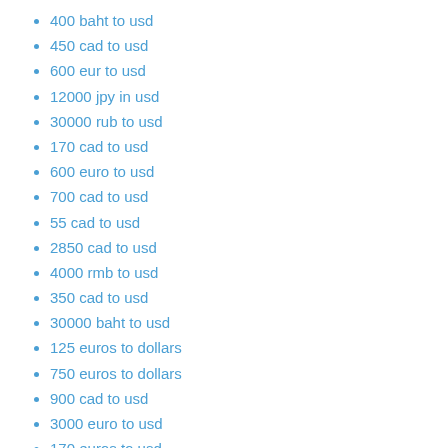400 baht to usd
450 cad to usd
600 eur to usd
12000 jpy in usd
30000 rub to usd
170 cad to usd
600 euro to usd
700 cad to usd
55 cad to usd
2850 cad to usd
4000 rmb to usd
350 cad to usd
30000 baht to usd
125 euros to dollars
750 euros to dollars
900 cad to usd
3000 euro to usd
170 euros to usd
70 aud to usd
7000 pesos to dollars
15000 baht to usd